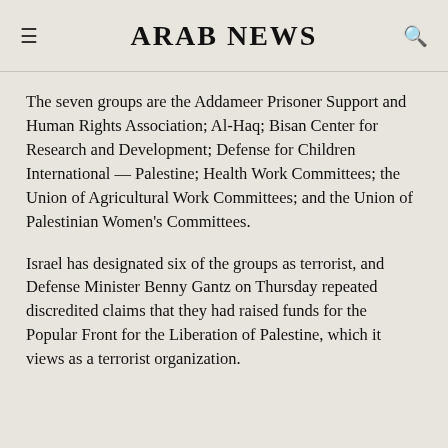ARAB NEWS
The seven groups are the Addameer Prisoner Support and Human Rights Association; Al-Haq; Bisan Center for Research and Development; Defense for Children International — Palestine; Health Work Committees; the Union of Agricultural Work Committees; and the Union of Palestinian Women's Committees.
Israel has designated six of the groups as terrorist, and Defense Minister Benny Gantz on Thursday repeated discredited claims that they had raised funds for the Popular Front for the Liberation of Palestine, which it views as a terrorist organization.